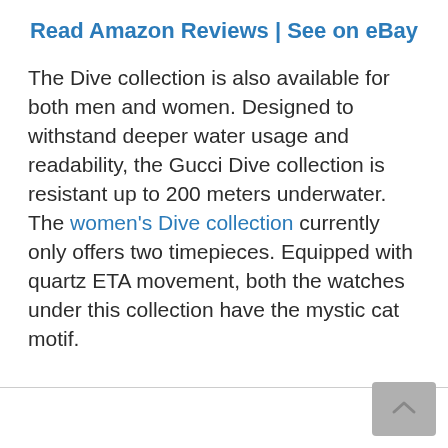Read Amazon Reviews | See on eBay
The Dive collection is also available for both men and women. Designed to withstand deeper water usage and readability, the Gucci Dive collection is resistant up to 200 meters underwater. The women's Dive collection currently only offers two timepieces. Equipped with quartz ETA movement, both the watches under this collection have the mystic cat motif.